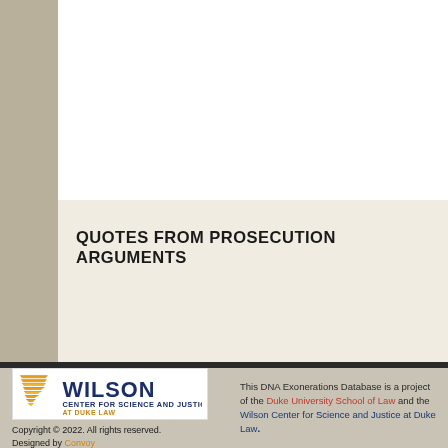QUOTES FROM PROSECUTION ARGUMENTS
[Figure (logo): Wilson Center for Science and Justice at Duke Law logo]
Copyright © 2022. All rights reserved.
Designed by Convoy
This DNA Exonerations Database is a project of the Duke University School of Law and the Wilson Center for Science and Justice at Duke Law.